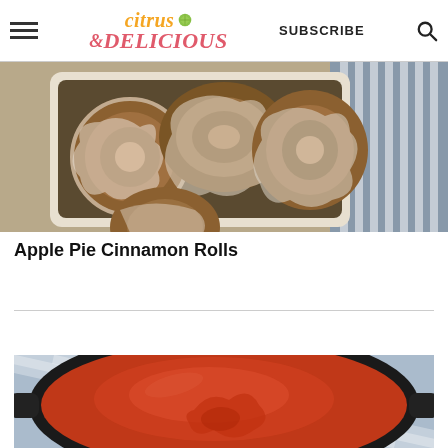Citrus & Delicious — SUBSCRIBE
[Figure (photo): Overhead view of apple pie cinnamon rolls with cream cheese glaze in a white baking dish, on a striped cloth]
Apple Pie Cinnamon Rolls
[Figure (photo): Overhead view of tomato sauce in a black cast iron skillet, on a striped cloth]